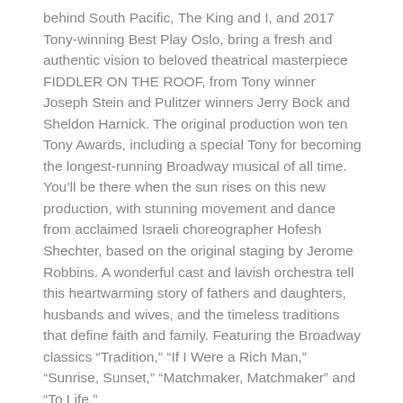behind South Pacific, The King and I, and 2017 Tony-winning Best Play Oslo, bring a fresh and authentic vision to beloved theatrical masterpiece FIDDLER ON THE ROOF, from Tony winner Joseph Stein and Pulitzer winners Jerry Bock and Sheldon Harnick. The original production won ten Tony Awards, including a special Tony for becoming the longest-running Broadway musical of all time. You'll be there when the sun rises on this new production, with stunning movement and dance from acclaimed Israeli choreographer Hofesh Shechter, based on the original staging by Jerome Robbins. A wonderful cast and lavish orchestra tell this heartwarming story of fathers and daughters, husbands and wives, and the timeless traditions that define faith and family. Featuring the Broadway classics “Tradition,” “If I Were a Rich Man,” “Sunrise, Sunset,” “Matchmaker, Matchmaker” and “To Life.”